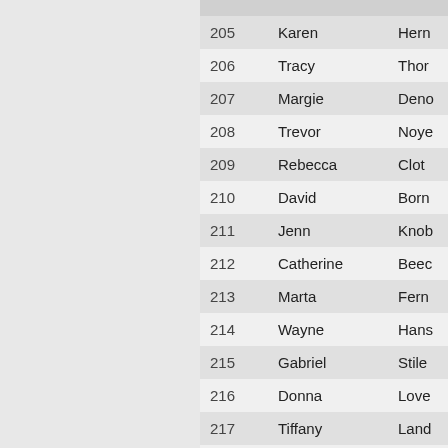| ID | First Name | Last Name |
| --- | --- | --- |
| 205 | Karen | Hern… |
| 206 | Tracy | Thor… |
| 207 | Margie | Deno… |
| 208 | Trevor | Noye… |
| 209 | Rebecca | Clot… |
| 210 | David | Born… |
| 211 | Jenn | Knob… |
| 212 | Catherine | Beec… |
| 213 | Marta | Fern… |
| 214 | Wayne | Hans… |
| 215 | Gabriel | Stile… |
| 216 | Donna | Love… |
| 217 | Tiffany | Land… |
| 218 | Peter | Jukn… |
| 219 | Beth | Mich… |
| 220 | Sherri | Lemo… |
| 221 | Steffen | Kam… |